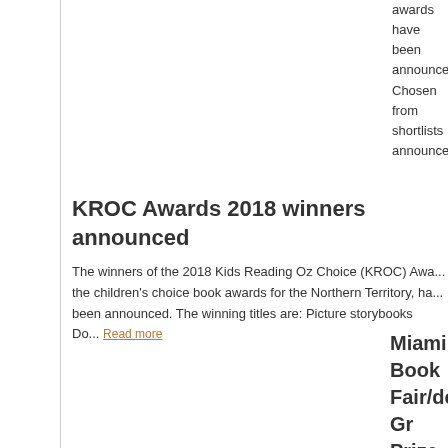awards have been announced. Chosen from shortlists announced July, the winning titles are: Birth three years... Read more
KROC Awards 2018 winners announced
The winners of the 2018 Kids Reading Oz Choice (KROC) Awards, the children's choice book awards for the Northern Territory, have been announced. The winning titles are: Picture storybooks Do... Read more
Miami Book Fair/de Gr Prize winner announced Australian writer amor